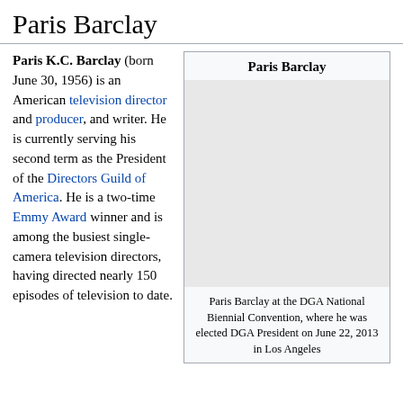Paris Barclay
Paris K.C. Barclay (born June 30, 1956) is an American television director and producer, and writer. He is currently serving his second term as the President of the Directors Guild of America. He is a two-time Emmy Award winner and is among the busiest single-camera television directors, having directed nearly 150 episodes of television to date.
[Figure (photo): Infobox with title 'Paris Barclay' and a photo placeholder area, captioned: Paris Barclay at the DGA National Biennial Convention, where he was elected DGA President on June 22, 2013 in Los Angeles]
Paris Barclay at the DGA National Biennial Convention, where he was elected DGA President on June 22, 2013 in Los Angeles